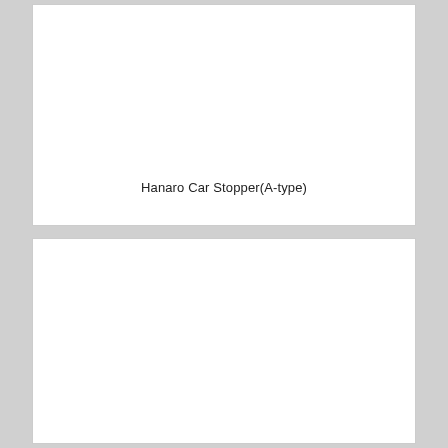[Figure (photo): Top box: white rectangle representing a photo/diagram of Hanaro Car Stopper (A-type), image content not visible.]
Hanaro Car Stopper(A-type)
[Figure (photo): Bottom box: white rectangle representing a photo/diagram, image content not visible.]